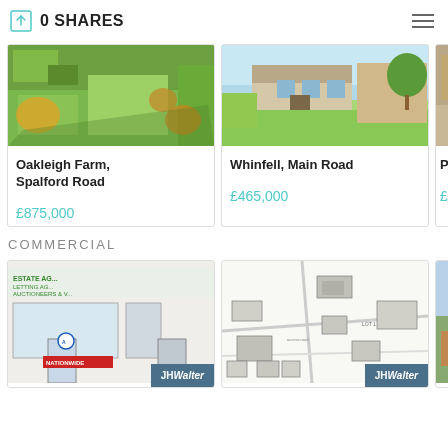0 SHARES
[Figure (photo): Aerial view of Oakleigh Farm, Spalford Road — green fields with trees]
Oakleigh Farm, Spalford Road
£875,000
[Figure (photo): Whinfell, Main Road — bungalow with large lawn]
Whinfell, Main Road
£465,000
[Figure (photo): Partial view of third residential property]
Prie
£79
COMMERCIAL
[Figure (photo): Commercial property storefront with JHWalter logo — estate agents office]
[Figure (photo): Site plan / map with JHWalter logo]
[Figure (photo): Partial view of third commercial property]